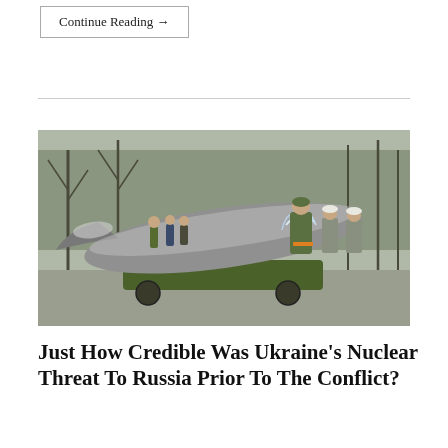Continue Reading →
[Figure (photo): Military personnel standing around a large missile or rocket warhead mounted on a green wheeled transport cart outdoors. One soldier in camouflage is working near the warhead. Others in military uniforms and white hard hats stand in the background among bare trees.]
Just How Credible Was Ukraine's Nuclear Threat To Russia Prior To The Conflict?